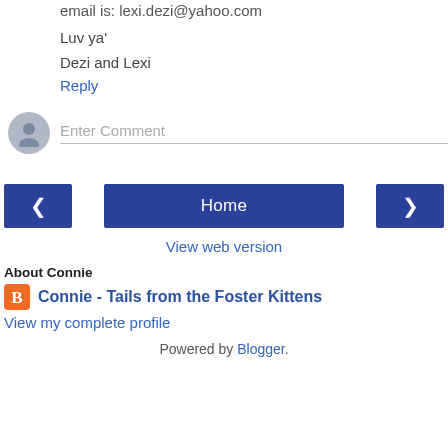email is: lexi.dezi@yahoo.com
Luv ya'
Dezi and Lexi
Reply
[Figure (other): User avatar circle with person silhouette and Enter Comment input field]
[Figure (other): Navigation buttons: left arrow, Home, right arrow]
View web version
About Connie
Connie - Tails from the Foster Kittens
View my complete profile
Powered by Blogger.